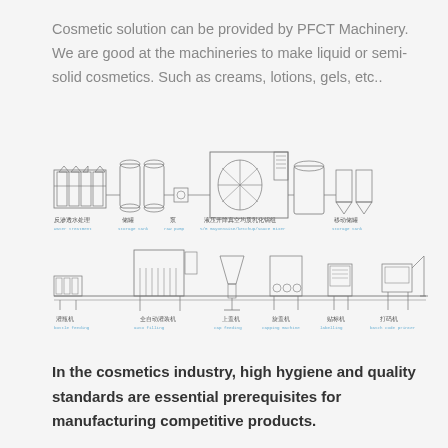Cosmetic solution can be provided by PFCT Machinery. We are good at the machineries to make liquid or semi-solid cosmetics. Such as creams, lotions, gels, etc..
[Figure (engineering-diagram): Two-row engineering diagram of a cosmetic manufacturing production line. Top row shows: water treatment unit, storage tanks, pump, hydraulic vacuum emulsification mixer (large central unit), additional tank, and mobile storage tanks — labelled in Chinese and English (water treatment, storage tank, raw pump, S/R mayonnaise/ketchup/sauce mixer, storage tank). Bottom row shows: bottle feeding conveyor, auto filling machine, cap feeding unit, capping machine, labelling machine, batch code printer — labelled in Chinese and English.]
In the cosmetics industry, high hygiene and quality standards are essential prerequisites for manufacturing competitive products.